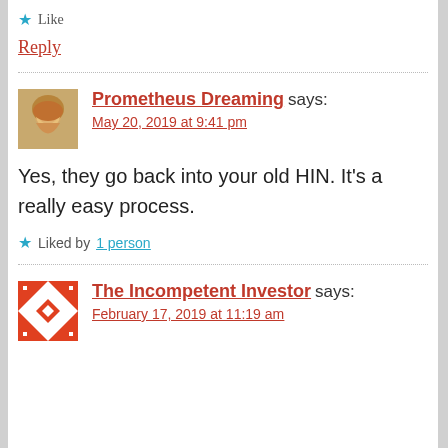★ Like
Reply
Prometheus Dreaming says:
May 20, 2019 at 9:41 pm
Yes, they go back into your old HIN. It's a really easy process.
★ Liked by 1 person
The Incompetent Investor says:
February 17, 2019 at 11:19 am